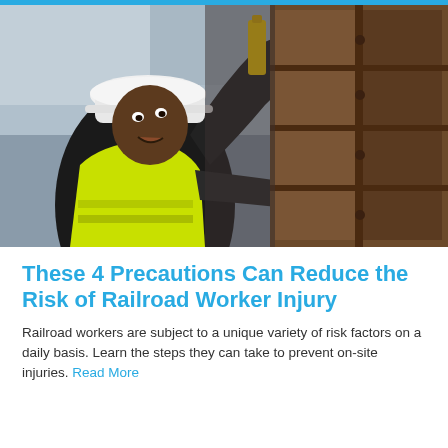[Figure (photo): A railroad worker wearing a yellow high-visibility vest and white hard hat, reaching up to inspect or work on heavy brown metal railroad equipment with a yellow measuring tool visible]
These 4 Precautions Can Reduce the Risk of Railroad Worker Injury
Railroad workers are subject to a unique variety of risk factors on a daily basis. Learn the steps they can take to prevent on-site injuries. Read More